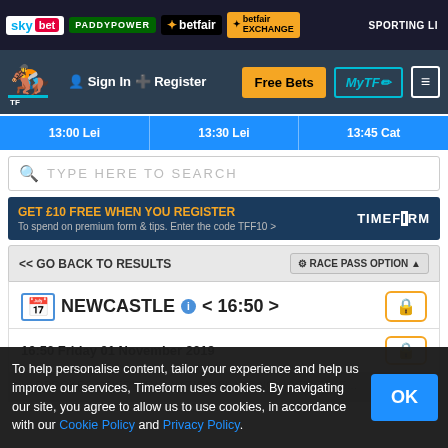sky bet | PADDYPOWER | betfair | betfair EXCHANGE | SPORTING LI...
[Figure (screenshot): Navigation bar with horse racing logo, Sign In, Register, Free Bets button, MyTF button, menu button]
[Figure (screenshot): Race time tabs: 13:00 Lei | 13:30 Lei | 13:45 Cat]
TYPE HERE TO SEARCH
GET £10 FREE WHEN YOU REGISTER To spend on premium form & tips. Enter the code TFF10 > TIMEFORM
<< GO BACK TO RESULTS
RACE PASS OPTION ▲
NEWCASTLE < 16:50 >
16:50 Friday 01 November 2019
To help personalise content, tailor your experience and help us improve our services, Timeform uses cookies. By navigating our site, you agree to allow us to use cookies, in accordance with our Cookie Policy and Privacy Policy.